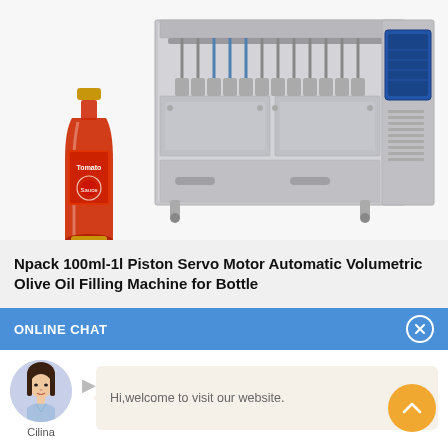[Figure (photo): Industrial filling machine (Npack 100ml-1l Piston Servo Motor Automatic Volumetric Olive Oil Filling Machine for Bottle) shown alongside a red tomato sauce bottle. The machine is large, stainless steel, with multiple nozzle heads and a control panel on the right.]
Npack 100ml-1l Piston Servo Motor Automatic Volumetric Olive Oil Filling Machine for Bottle
ONLINE CHAT
[Figure (photo): Avatar photo of a young woman named Cilina, wearing a light blue shirt.]
Hi,welcome to visit our website.
Cilina